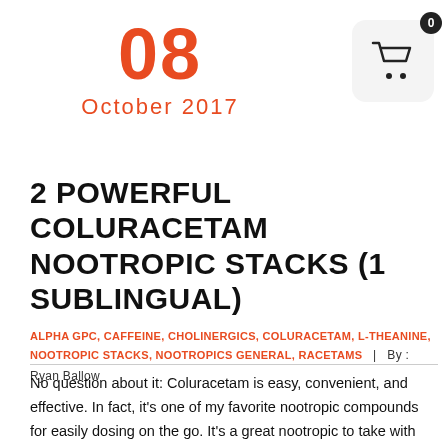08 October 2017
2 POWERFUL COLURACETAM NOOTROPIC STACKS (1 SUBLINGUAL)
ALPHA GPC, CAFFEINE, CHOLINERGICS, COLURACETAM, L-THEANINE, NOOTROPIC STACKS, NOOTROPICS GENERAL, RACETAMS | By : Ryan Ballow
No question about it: Coluracetam is easy, convenient, and effective. In fact, it's one of my favorite nootropic compounds for easily dosing on the go. It's a great nootropic to take with you while traveling, that you can quickly weigh out, capsule, or sublingually take. Recently, on the Cortex Labs nootropics YouTube channel